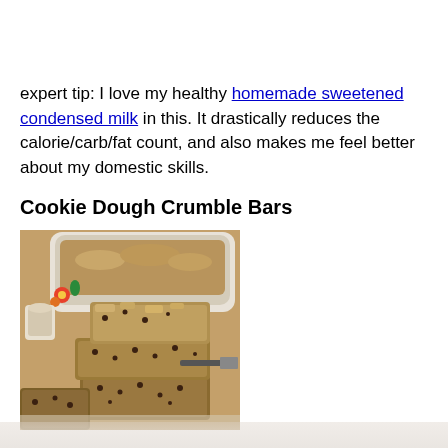expert tip: I love my healthy homemade sweetened condensed milk in this. It drastically reduces the calorie/carb/fat count, and also makes me feel better about my domestic skills.
Cookie Dough Crumble Bars
[Figure (photo): Cookie dough crumble bars stacked on a surface, with a decorative floral casserole dish and small candle in the background]